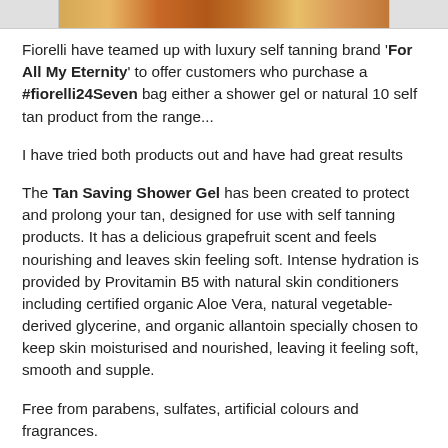[Figure (photo): Partial cropped photo strip showing what appears to be a self-tanning product or person with tan skin, orange/brown tones.]
Fiorelli have teamed up with luxury self tanning brand 'For All My Eternity' to offer customers who purchase a #fiorelli24Seven bag either a shower gel or natural 10 self tan product from the range...
I have tried both products out and have had great results
The Tan Saving Shower Gel has been created to protect and prolong your tan, designed for use with self tanning products. It has a delicious grapefruit scent and feels nourishing and leaves skin feeling soft. Intense hydration is provided by Provitamin B5 with natural skin conditioners including certified organic Aloe Vera, natural vegetable-derived glycerine, and organic allantoin specially chosen to keep skin moisturised and nourished, leaving it feeling soft, smooth and supple.
Free from parabens, sulfates, artificial colours and fragrances.